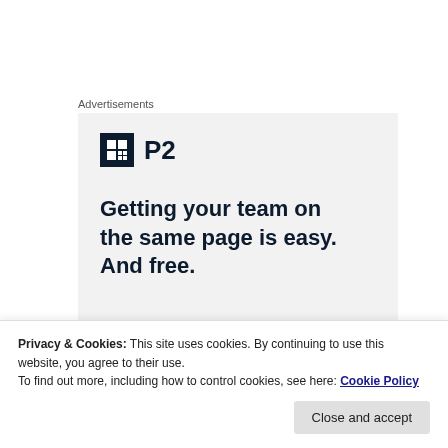Advertisements
[Figure (infographic): P2 advertisement banner with logo and tagline: Getting your team on the same page is easy. And free.]
A LIGHTYEAR JOURNEY
Privacy & Cookies: This site uses cookies. By continuing to use this website, you agree to their use.
To find out more, including how to control cookies, see here: Cookie Policy
Close and accept